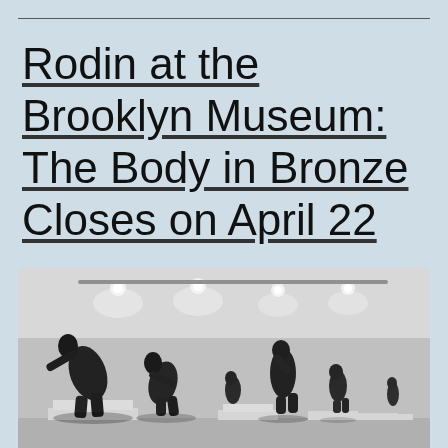Rodin at the Brooklyn Museum: The Body in Bronze Closes on April 22
[Figure (photo): Black and white photograph of a museum gallery interior with Rodin bronze sculptures on white pedestals. Several large dark bronze human figures are posed in dramatic positions. The gallery has white walls, a white ceiling with recessed spotlights, and a polished floor.]